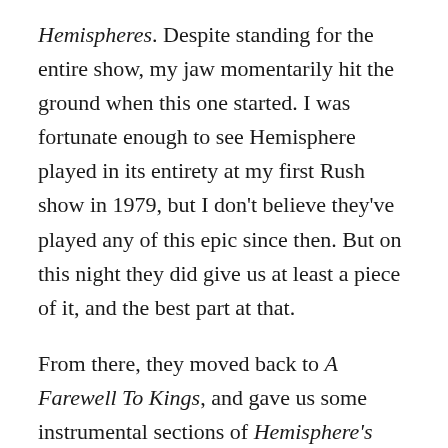Hemispheres. Despite standing for the entire show, my jaw momentarily hit the ground when this one started. I was fortunate enough to see Hemisphere played in its entirety at my first Rush show in 1979, but I don't believe they've played any of this epic since then. But on this night they did give us at least a piece of it, and the best part at that.

From there, they moved back to A Farewell To Kings, and gave us some instrumental sections of Hemisphere's prelude, Cygnux X, Book I, with the song punctuated by a Neil Peart drum solo. Closer to the Heart followed, and after that, another highlight of the show for yours truly, Xanadu. Both Geddy Lee and Alex pulled out the double-neck axes for the performance of this piece, and